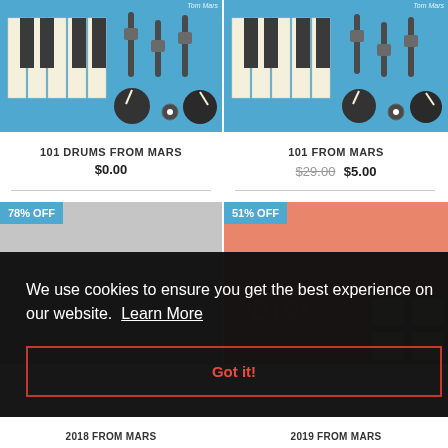[Figure (illustration): Blue synthesizer/keyboard product image for 101 Drums From Mars - shows piano keys on left and synthesizer knobs/sliders on blue background]
101 DRUMS FROM MARS
$0.00
[Figure (illustration): Blue synthesizer/keyboard product image for 101 From Mars - shows piano keys on left and synthesizer knobs/sliders on blue background]
101 FROM MARS
$29.00  $5.00
[Figure (illustration): 2018 From Mars product card with 78% OFF badge, gray background, year label 2018*]
[Figure (illustration): 2019 From Mars product card with 51% OFF badge, salmon/orange background, year label 2019*, partial synthesizer pad image visible]
We use cookies to ensure you get the best experience on our website.  Learn More
Got it!
2018 FROM MARS
2019 FROM MARS